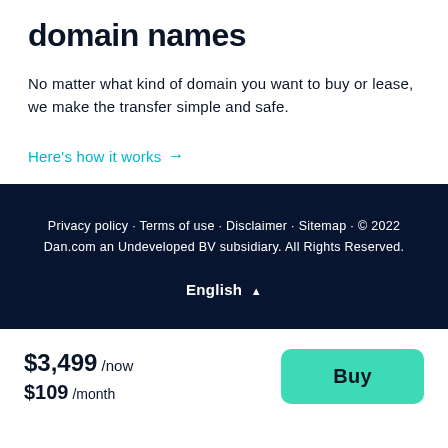domain names
No matter what kind of domain you want to buy or lease, we make the transfer simple and safe.
Here's how it works →
Privacy policy · Terms of use · Disclaimer · Sitemap · © 2022 Dan.com an Undeveloped BV subsidiary. All Rights Reserved.
English ▲
$3,499 /now $109 /month
Buy